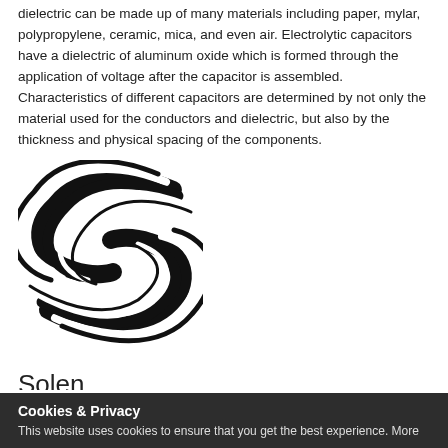dielectric can be made up of many materials including paper, mylar, polypropylene, ceramic, mica, and even air. Electrolytic capacitors have a dielectric of aluminum oxide which is formed through the application of voltage after the capacitor is assembled. Characteristics of different capacitors are determined by not only the material used for the conductors and dielectric, but also by the thickness and physical spacing of the components.
[Figure (logo): Solen brand logo — a stylized S shape made of curved black and white stripes]
Solen
Solen is a producer of high-end crossover components.
Sort by: Recently Added
Showing: 24 products per page
Cookies & Privacy
This website uses cookies to ensure that you get the best experience. More